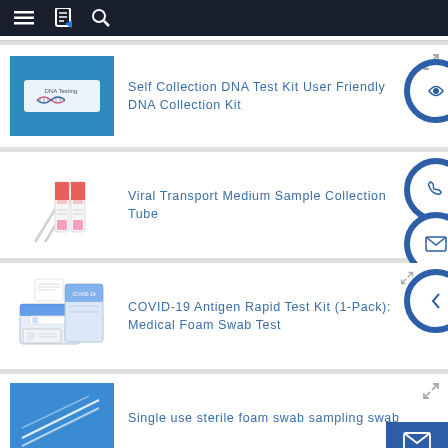Navigation bar with menu, bookmark, and search icons
[Figure (photo): Self Collection DNA Test Kit product image on blue background]
Self Collection DNA Test Kit User Friendly DNA Collection Kit
[Figure (photo): Viral Transport Medium Sample Collection Tube product image showing two tubes with swabs]
Viral Transport Medium Sample Collection Tube
[Figure (photo): COVID-19 Antigen Rapid Test Kit (1-Pack) showing test components on white background]
COVID-19 Antigen Rapid Test Kit (1-Pack): Medical Foam Swab Test
[Figure (photo): Single use sterile foam swab sampling swab product image on blue background]
Single use sterile foam swab sampling swab